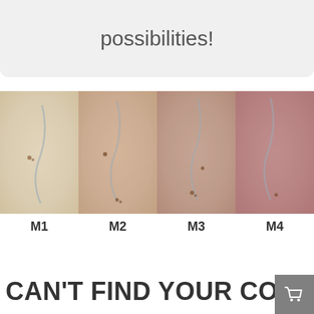possibilities!
[Figure (photo): Four skin tone swatch samples labeled M1, M2, M3, M4, showing progressively darker/pinker shades from left to right. Each swatch is a microscopic or close-up texture image of skin tissue.]
M1   M2   M3   M4
CAN'T FIND YOUR COLOR?